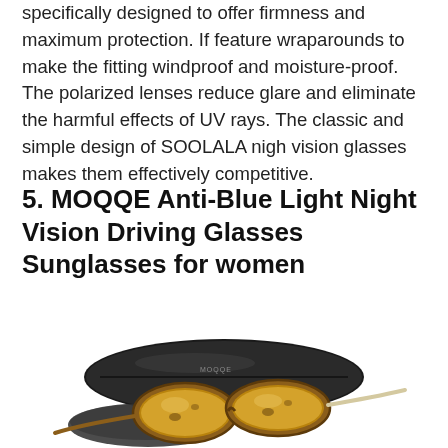specifically designed to offer firmness and maximum protection. If feature wraparounds to make the fitting windproof and moisture-proof. The polarized lenses reduce glare and eliminate the harmful effects of UV rays. The classic and simple design of SOOLALA nigh vision glasses makes them effectively competitive.
5. MOQQE Anti-Blue Light Night Vision Driving Glasses Sunglasses for women
[Figure (photo): Photo of MOQQE sunglasses with tortoise shell frames and yellow tinted lenses, resting on a dark glasses case, with a soft pouch nearby]